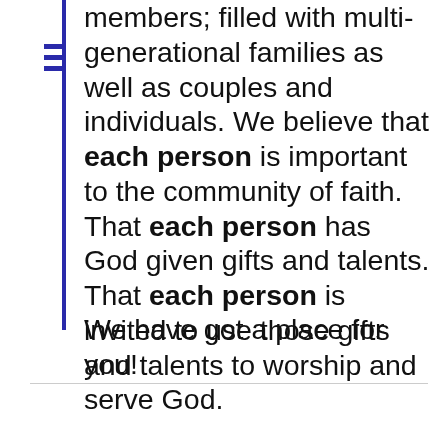members; filled with multi-generational families as well as couples and individuals. We believe that each person is important to the community of faith. That each person has God given gifts and talents. That each person is invited to use those gifts and talents to worship and serve God.
We have got a place for you!